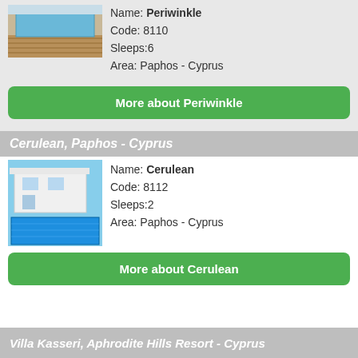[Figure (photo): Photo of Periwinkle villa pool area with wooden deck]
Name: Periwinkle
Code: 8110
Sleeps:6
Area: Paphos - Cyprus
More about Periwinkle
Cerulean, Paphos - Cyprus
[Figure (photo): Photo of Cerulean villa with white modern architecture and pool]
Name: Cerulean
Code: 8112
Sleeps:2
Area: Paphos - Cyprus
More about Cerulean
Villa Kasseri, Aphrodite Hills Resort - Cyprus